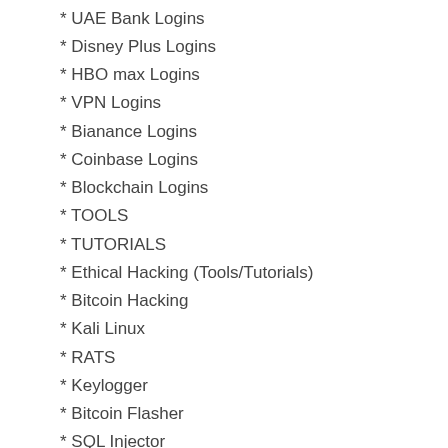* UAE Bank Logins
* Disney Plus Logins
* HBO max Logins
* VPN Logins
* Bianance Logins
* Coinbase Logins
* Blockchain Logins
* TOOLS
* TUTORIALS
* Ethical Hacking (Tools/Tutorials)
* Bitcoin Hacking
* Kali Linux
* RATS
* Keylogger
* Bitcoin Flasher
* SQL Injector
* SMTP Linux Root
* Shell Scripting
* SMS Sender
* Email Blaster
* Server I.P's & Proxies
* Viruses
* VPN